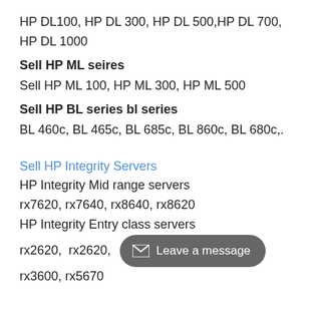HP DL100, HP DL 300, HP DL 500,HP DL 700, HP DL 1000
Sell HP ML seires
Sell HP ML 100, HP ML 300, HP ML 500
Sell HP BL series bl series
BL 460c, BL 465c, BL 685c, BL 860c, BL 680c,.
Sell HP Integrity Servers
HP Integrity Mid range servers
rx7620, rx7640, rx8640, rx8620
HP Integrity Entry class servers
rx2620,  rx2620,  rx3600, rx5670